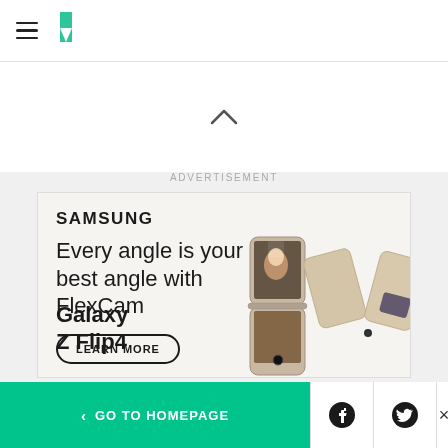HuffPost navigation header with hamburger menu and logo
[Figure (screenshot): Up chevron arrow indicating scroll up]
ADVERTISEMENT
[Figure (illustration): Samsung Galaxy Z Flip4 advertisement. SAMSUNG. Every angle is your best angle with FlexCam. LEARN MORE. Galaxy Z Flip4. Shows Samsung Galaxy Z Flip4 phones in gold/beige color in various angles.]
< GO TO HOMEPAGE
[Figure (logo): Facebook icon button]
[Figure (logo): Twitter icon button]
×